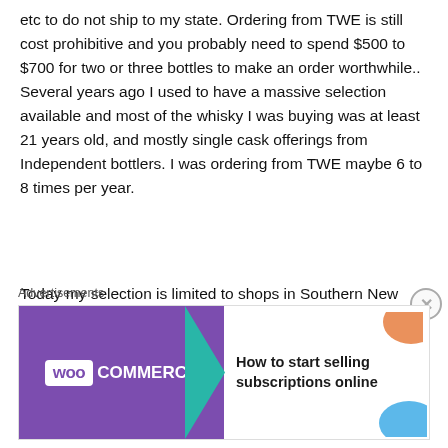etc to do not ship to my state. Ordering from TWE is still cost prohibitive and you probably need to spend $500 to $700 for two or three bottles to make an order worthwhile.. Several years ago I used to have a massive selection available and most of the whisky I was buying was at least 21 years old, and mostly single cask offerings from Independent bottlers. I was ordering from TWE maybe 6 to 8 times per year.
Today my selection is limited to shops in Southern New England, and the very few online dealers that still ship to my state. So now bottles are in the running for my money that I wouldn't
Advertisements
[Figure (other): WooCommerce advertisement banner with teal arrow, orange and blue decorative arcs, and text 'How to start selling subscriptions online']